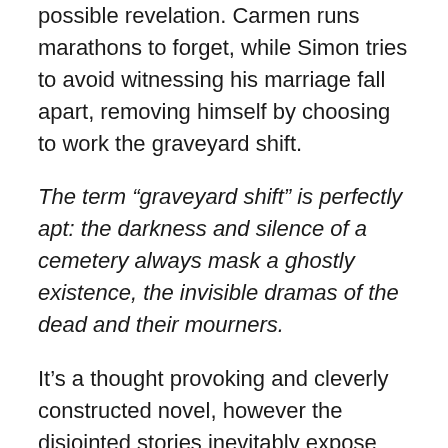possible revelation. Carmen runs marathons to forget, while Simon tries to avoid witnessing his marriage fall apart, removing himself by choosing to work the graveyard shift.
The term “graveyard shift” is perfectly apt: the darkness and silence of a cemetery always mask a ghostly existence, the invisible dramas of the dead and their mourners.
It’s a thought provoking and cleverly constructed novel, however the disjointed stories inevitably expose the weaknesses of one against the strengths of another, and so writing about it a week after reading highlights that which was memorable and that lost to the river of stories who are lost in the current.
Ultimately, what stays with the reader is the importance of